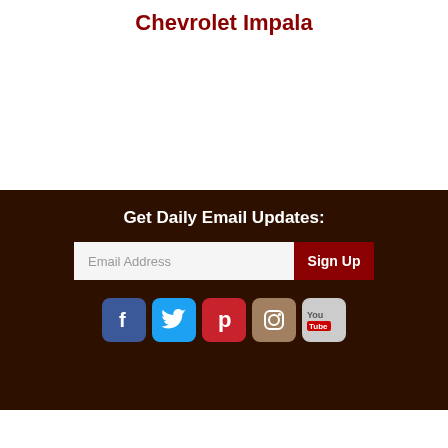Chevrolet Impala
Get Daily Email Updates:
[Figure (screenshot): Email signup form with input field labeled 'Email Address' and a dark red 'Sign Up' button]
[Figure (infographic): Social media icons: Facebook (blue), Twitter (light blue), Pinterest (red), Instagram (brown), YouTube (gray)]